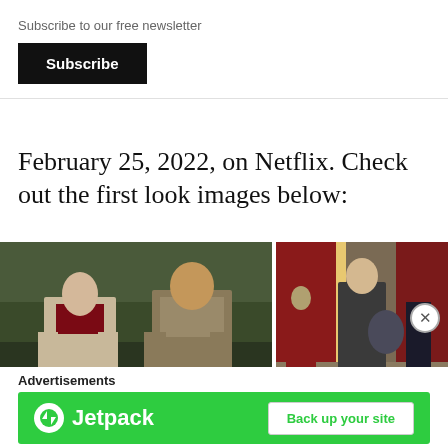Subscribe to our free newsletter
Subscribe
February 25, 2022, on Netflix. Check out the first look images below:
[Figure (photo): Two Viking-era characters standing in a forest: a woman in a fur coat over a dark red dress, and a bearded man in fur clothing]
[Figure (photo): A medieval warrior in chainmail holding a shield, standing in a market square with soldiers in red armor in the background]
[Figure (photo): Partial bottom-left image, appears to show a snowy or wintry outdoor scene]
[Figure (photo): Partial bottom-right image with a watermark 'A' visible]
Advertisements
[Figure (logo): Jetpack advertisement banner with green background, Jetpack logo on the left and 'Back up your site' button on the right]